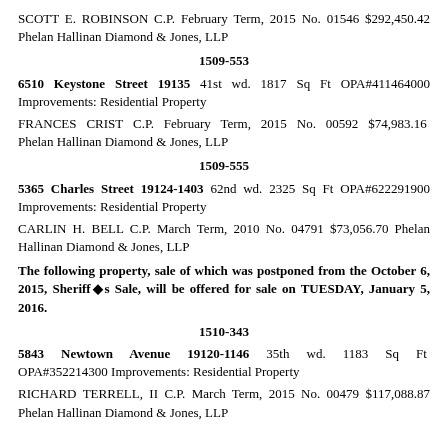SCOTT E. ROBINSON C.P. February Term, 2015 No. 01546 $292,450.42 Phelan Hallinan Diamond & Jones, LLP
1509-553
6510 Keystone Street 19135 41st wd. 1817 Sq Ft OPA#411464000 Improvements: Residential Property
FRANCES CRIST C.P. February Term, 2015 No. 00592 $74,983.16 Phelan Hallinan Diamond & Jones, LLP
1509-555
5365 Charles Street 19124-1403 62nd wd. 2325 Sq Ft OPA#622291900 Improvements: Residential Property
CARLIN H. BELL C.P. March Term, 2010 No. 04791 $73,056.70 Phelan Hallinan Diamond & Jones, LLP
The following property, sale of which was postponed from the October 6, 2015, Sheriff's Sale, will be offered for sale on TUESDAY, January 5, 2016.
1510-343
5843 Newtown Avenue 19120-1146 35th wd. 1183 Sq Ft OPA#352214300 Improvements: Residential Property
RICHARD TERRELL, II C.P. March Term, 2015 No. 00479 $117,088.87 Phelan Hallinan Diamond & Jones, LLP